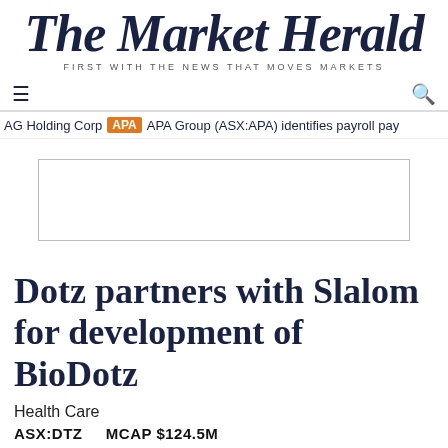The Market Herald — FIRST WITH THE NEWS THAT MOVES MARKETS
AG Holding Corp  APA  APA Group (ASX:APA) identifies payroll pay
[Figure (other): Advertisement placeholder box]
Dotz partners with Slalom for development of BioDotz
Health Care
ASX:DTZ    MCAP $124.5M
[Figure (photo): Author avatar portrait thumbnail with orange circle border, alongside an advertisement or author info box]